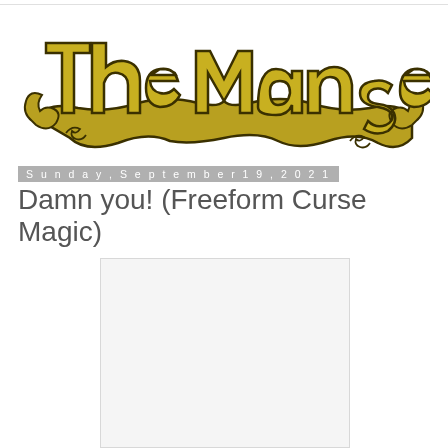[Figure (logo): The Manse blog logo — decorative hand-drawn yellow/gold lettering with ornamental curl designs on a white background]
Sunday, September 19, 2021
Damn you! (Freeform Curse Magic)
[Figure (photo): A mostly blank/white image placeholder below the title]